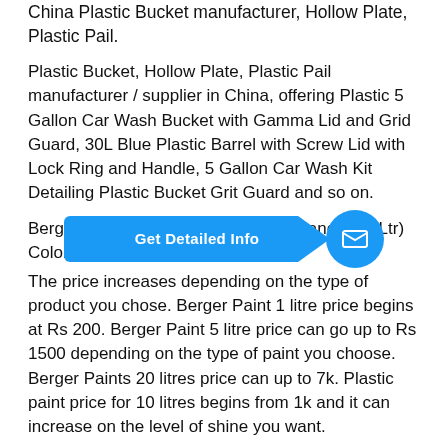China Plastic Bucket manufacturer, Hollow Plate, Plastic Pail.
Plastic Bucket, Hollow Plate, Plastic Pail manufacturer / supplier in China, offering Plastic 5 Gallon Car Wash Bucket with Gamma Lid and Grid Guard, 30L Blue Plastic Barrel with Screw Lid with Lock Ring and Handle, 5 Gallon Car Wash Kit Detailing Plastic Bucket Grit Guard and so on.
Berger Paints Products, Specialising and (20 Ltr) Colors.
[Figure (other): Blue 'Get Detailed Info' button with arrow shape and blue email circle icon overlay]
The price increases depending on the type of product you chose. Berger Paint 1 litre price begins at Rs 200. Berger Paint 5 litre price can go up to Rs 1500 depending on the type of paint you choose. Berger Paints 20 litres price can up to 7k. Plastic paint price for 10 litres begins from 1k and it can increase on the level of shine you want.